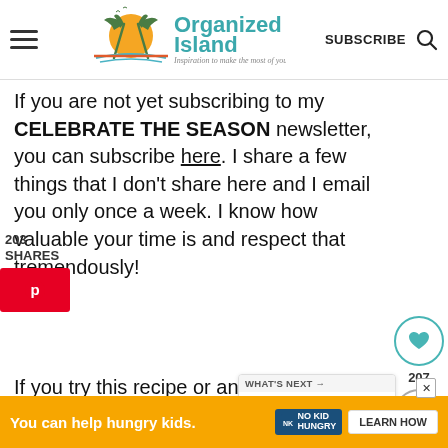Organized Island — Inspiration to make the most of your time | SUBSCRIBE
If you are not yet subscribing to my CELEBRATE THE SEASON newsletter, you can subscribe here. I share a few things that I don't share here and I email you only once a week. I know how valuable your time is and respect that tremendously!
203 SHARES
207
WHAT'S NEXT → Cream of Celery Soup...
If you try this recipe or any other on Organized Island, please don't forget to
You can help hungry kids. NO KID HUNGRY LEARN HOW